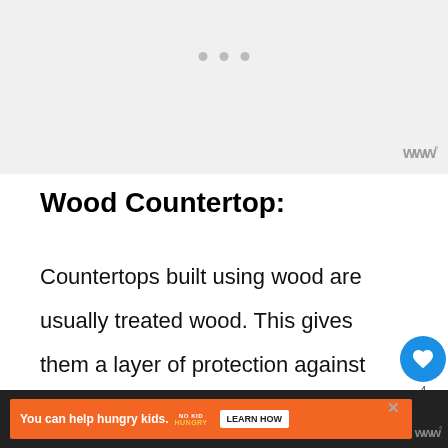[Figure (other): Gray placeholder image area at top of page with three small gray dots (carousel indicators) and a waterfall/W logo in the bottom right corner]
Wood Countertop:
Countertops built using wood are usually treated wood. This gives them a layer of protection against heat. But it is still sm. to protect it against the heat of the air fryer
[Figure (other): Advertisement banner at the bottom: orange bar with 'You can help hungry kids.' text, No Kid Hungry logo, and Learn How button. Close X button visible. Waterfall logo at far right.]